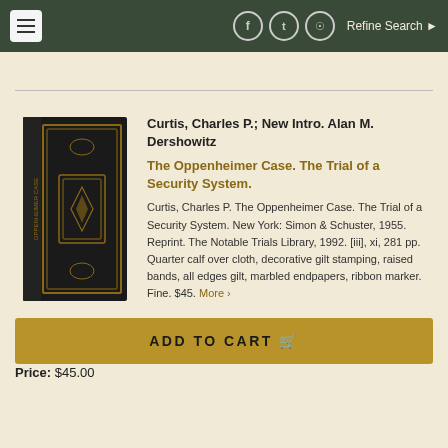Refine Search
[Figure (photo): A decorative leather-bound book with gilt stamping on the cover and spine, titled 'The Oppenheimer Case', standing upright against a white background.]
Curtis, Charles P.; New Intro. Alan M. Dershowitz
The Oppenheimer Case. The Trial of a Security System.
Curtis, Charles P. The Oppenheimer Case. The Trial of a Security System. New York: Simon & Schuster, 1955. Reprint. The Notable Trials Library, 1992. [iii], xi, 281 pp. Quarter calf over cloth, decorative gilt stamping, raised bands, all edges gilt, marbled endpapers, ribbon marker. Fine. $45. More ›
ADD TO CART
Price: $45.00